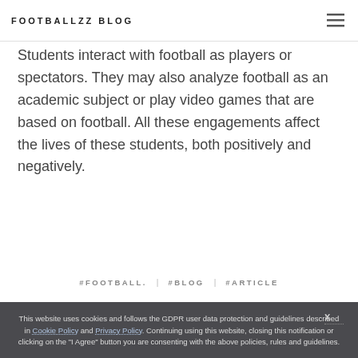FOOTBALLZZ BLOG
Students interact with football as players or spectators. They may also analyze football as an academic subject or play video games that are based on football. All these engagements affect the lives of these students, both positively and negatively.
#FOOTBALL. | #BLOG | #ARTICLE
This website uses cookies and follows the GDPR user data protection and guidelines described in Cookie Policy and Privacy Policy. Continuing using this website, closing this notification or clicking on the "I Agree" button you are consenting with the above policies, rules and guidelines.
I AGREE